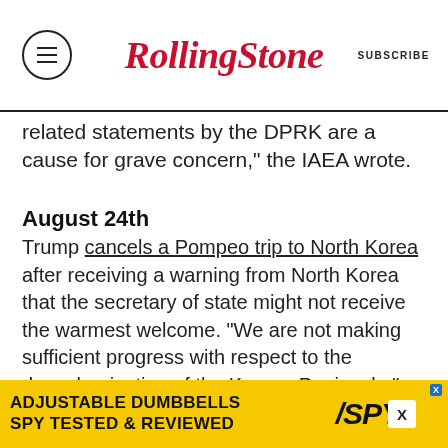Rolling Stone | SUBSCRIBE
related statements by the DPRK are a cause for grave concern," the IAEA wrote.
August 24th
Trump cancels a Pompeo trip to North Korea after receiving a warning from North Korea that the secretary of state might not receive the warmest welcome. “We are not making sufficient progress with respect to the denuclearization of the Korean Peninsula,” Trump tweeted in announcing that Pompeo would not be making the trip as planned.
September 10th
New intelligence reveals that North Korea is taking additional measure to conceal nuclear
[Figure (infographic): Advertisement banner: yellow background with text 'ADJUSTABLE DUMBBELLS SPY TESTED & REVIEWED' and SPY logo]